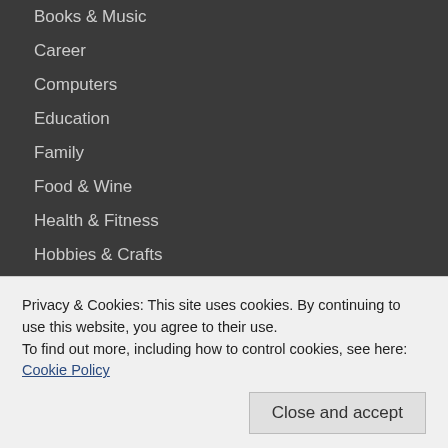Books & Music
Career
Computers
Education
Family
Food & Wine
Health & Fitness
Hobbies & Crafts
Home & Garden
Money
News & Politics
Relationships
Privacy & Cookies: This site uses cookies. By continuing to use this website, you agree to their use. To find out more, including how to control cookies, see here: Cookie Policy